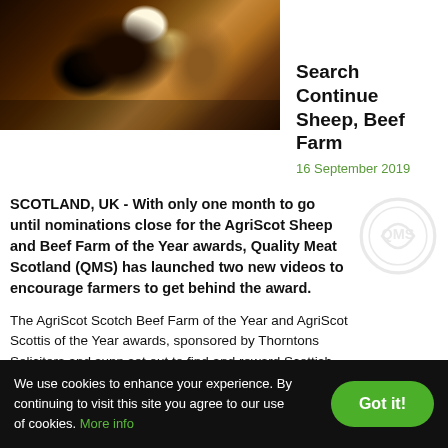[Figure (photo): Close-up photograph of black and brown cattle/cows facing the camera outdoors]
Search Continues Sheep, Beef Farm
16 September 2019
[Figure (logo): Quality Meat Scotland (QMS) circular logo watermark, lightly visible]
SCOTLAND, UK - With only one month to go until nominations close for the AgriScot Sheep and Beef Farm of the Year awards, Quality Meat Scotland (QMS) has launched two new videos to encourage farmers to get behind the award.
The AgriScot Scotch Beef Farm of the Year and AgriScot Scottish of the Year awards, sponsored by Thorntons Solicitors and supp set out to find and reward Scottish farms which exemplify the be
We use cookies to enhance your experience. By continuing to visit this site you agree to our use of cookies. More info